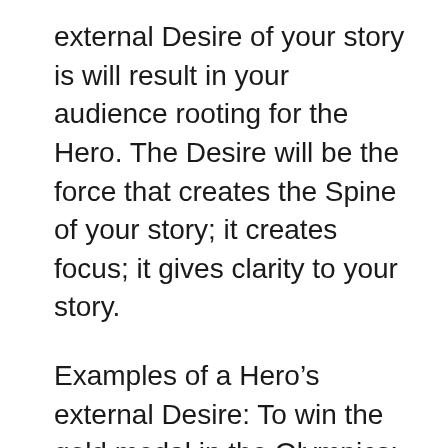external Desire of your story is will result in your audience rooting for the Hero. The Desire will be the force that creates the Spine of your story; it creates focus; it gives clarity to your story.
Examples of a Hero’s external Desire: To win the gold medal in the Olympics; to get the girl; to reach the top of Mt. Everest; to get a divorce; to win custody to see his children; to find the person who murdered his wife; to discover a cure for cancer; to protect a witness from a murderer; to slay 10 dragons who are keeping his family hostage; to